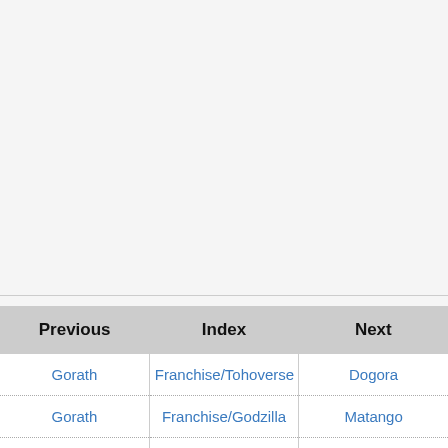| Previous | Index | Next |
| --- | --- | --- |
| Gorath | Franchise/Tohoverse | Dogora |
| Gorath | Franchise/Godzilla | Matango |
|  | Creator/American |  |